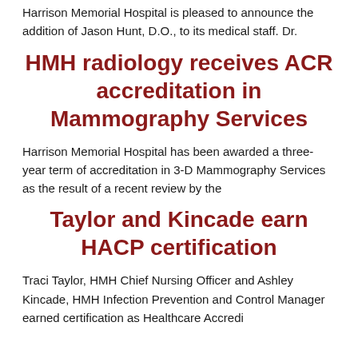Harrison Memorial Hospital is pleased to announce the addition of Jason Hunt, D.O., to its medical staff. Dr.
HMH radiology receives ACR accreditation in Mammography Services
Harrison Memorial Hospital has been awarded a three-year term of accreditation in 3-D Mammography Services as the result of a recent review by the
Taylor and Kincade earn HACP certification
Traci Taylor, HMH Chief Nursing Officer and Ashley Kincade, HMH Infection Prevention and Control Manager earned certification as Healthcare Accredi